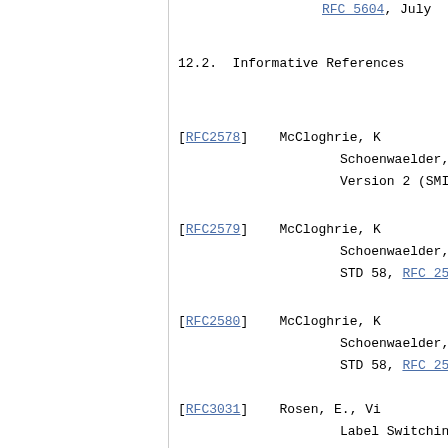RFC 5604, July
12.2.  Informative References
[RFC2578]    McCloghrie, K, Schoenwaelder, J., Version 2 (SMI
[RFC2579]    McCloghrie, K, Schoenwaelder, J., STD 58, RFC 25
[RFC2580]    McCloghrie, K, Schoenwaelder, J., STD 58, RFC 25
[RFC3031]    Rosen, E., Vi Label Switchin
[RFC3410]    Case, J., Munc "Introduction